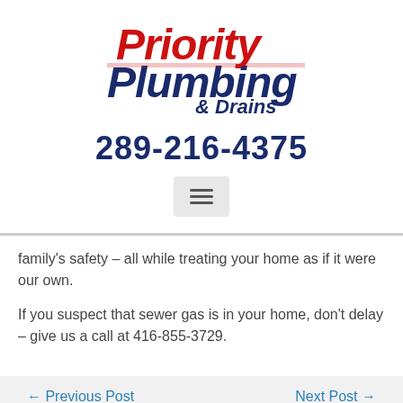[Figure (logo): Priority Plumbing & Drains logo in red and dark blue italic/bold text]
289-216-4375
[Figure (other): Hamburger menu icon (three horizontal lines) in a light grey rounded rectangle]
family's safety – all while treating your home as if it were our own.
If you suspect that sewer gas is in your home, don't delay – give us a call at 416-855-3729.
← Previous Post
Next Post →
Search …